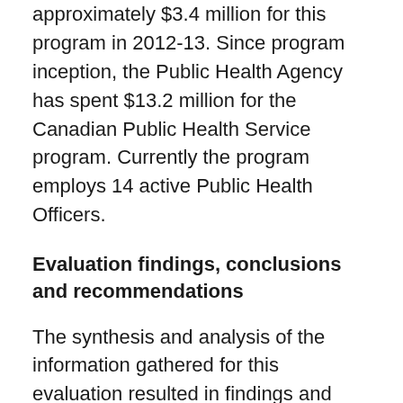approximately $3.4 million for this program in 2012-13. Since program inception, the Public Health Agency has spent $13.2 million for the Canadian Public Health Service program. Currently the program employs 14 active Public Health Officers.
Evaluation findings, conclusions and recommendations
The synthesis and analysis of the information gathered for this evaluation resulted in findings and conclusions about both relevance and performance, which in turn led to three recommendations.